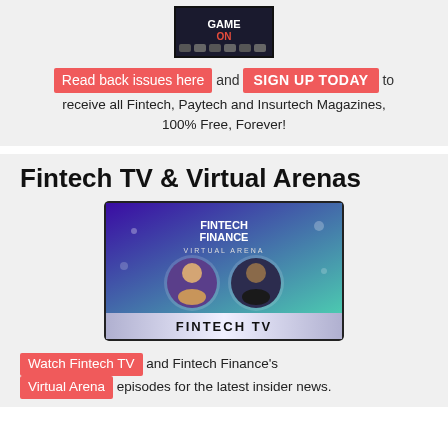[Figure (photo): Magazine cover thumbnail showing 'Game On' edition with presenter photos]
Read back issues here and SIGN UP TODAY to receive all Fintech, Paytech and Insurtech Magazines, 100% Free, Forever!
Fintech TV & Virtual Arenas
[Figure (screenshot): Fintech Finance Virtual Arena promotional image showing two hosts and 'FINTECH TV' banner]
Watch Fintech TV and Fintech Finance's Virtual Arena episodes for the latest insider news.